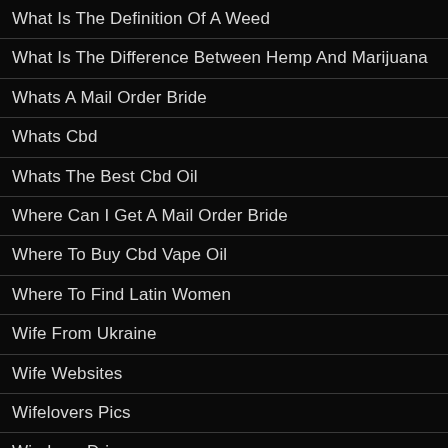What Is The Definition Of A Weed
What Is The Difference Between Hemp And Marijuana
Whats A Mail Order Bride
Whats Cbd
Whats The Best Cbd Oil
Where Can I Get A Mail Order Bride
Where To Buy Cbd Vape Oil
Where To Find Latin Women
Wife From Ukraine
Wife Websites
Wifelovers Pics
Windows Drivers
Windows Errors